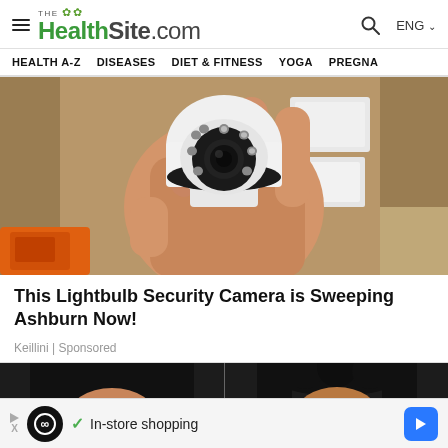THE HealthSite.com — ENG
HEALTH A-Z  DISEASES  DIET & FITNESS  YOGA  PREGNA…
[Figure (photo): A hand holding a white dome-shaped lightbulb security camera with visible LED lights around the lens, orange power drill visible in background, white boxes in background]
This Lightbulb Security Camera is Sweeping Ashburn Now!
Keillini | Sponsored
[Figure (photo): Two partial photos side by side showing people's faces with dark hair, bottom portion of page]
✓ In-store shopping